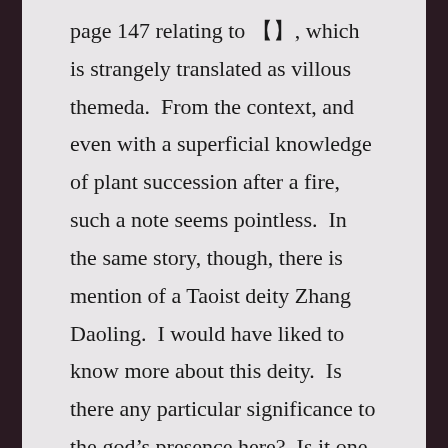page 147 relating to 〔〕, which is strangely translated as villous themeda.  From the context, and even with a superficial knowledge of plant succession after a fire, such a note seems pointless.  In the same story, though, there is mention of a Taoist deity Zhang Daoling.  I would have liked to know more about this deity.  Is there any particular significance to the god's presence here?  Is it one that is principally worshipped by the Hakka?  These carpings are in no way meant to diminish the translations, and not everyone will feel the same way.
This is a fine book. I highly recommend it to anyone who is interested in modern Chinese literature from Taiwan.  Zhong Lihe is an important Taiwan author from